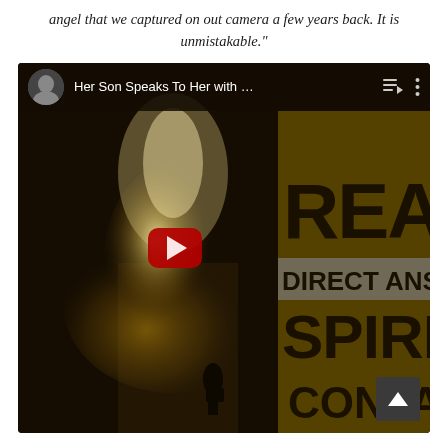angel that we captured on out camera a few years back. It is unmistakable."
[Figure (screenshot): YouTube video thumbnail showing a ghostly glowing figure at the end of a dark path with a person walking toward it, overlaid with text 'Her Son Speaks To Her with ...' in the top bar and 'REA DIRECT ANSW SPIRIT CONTACT' on the right side. A red YouTube play button is centered. A back-to-top arrow button is in the bottom right.]